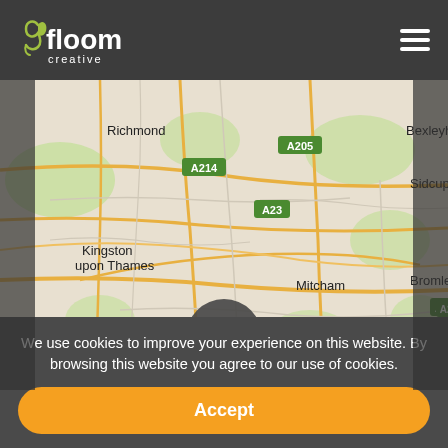[Figure (logo): Floom Creative logo — white leaf icon with 'floom' in bold white and 'creative' in smaller white letters below]
[Figure (map): Google Maps screenshot showing south London area including Richmond, Kingston upon Thames, Mitcham, Croydon, Sutton, Bromley, Sidcup, Bexleyheath, Orpington. Road labels: A205, A214, A23, A24, A240, A3, A232, A20.]
[Figure (infographic): Location search icon — magnifying glass with map pin, inside a dark grey circle]
We use cookies to improve your experience on this website. By browsing this website you agree to our use of cookies.
Accept